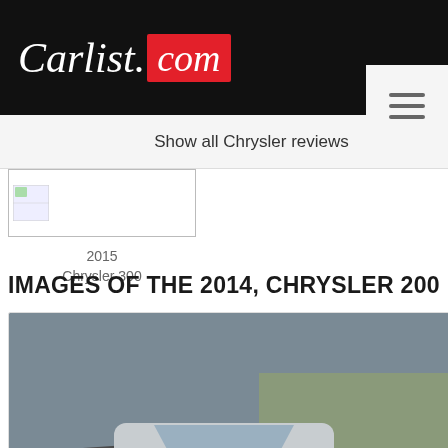Carlist.com
Show all Chrysler reviews
[Figure (photo): Small thumbnail image placeholder for 2015 Chrysler 300]
2015
Chrysler 300
IMAGES OF THE 2014, CHRYSLER 200
[Figure (photo): Front view of a silver 2014 Chrysler 200 driving on a winding road with yellow center lines]
2014 Chrysler 200
[Figure (photo): Partial view of a dark/black car, possibly wheel or front detail]